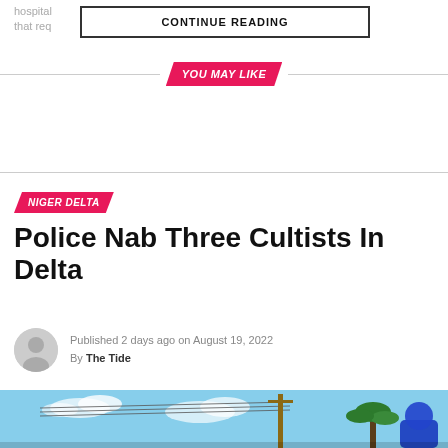hospital ... ks in that req ... um.
CONTINUE READING
YOU MAY LIKE
NIGER DELTA
Police Nab Three Cultists In Delta
Published 2 days ago on August 19, 2022
By The Tide
[Figure (photo): Outdoor scene with blue sky, power lines, a utility pole, palm trees, and a person wearing a blue hat/uniform in the foreground right]